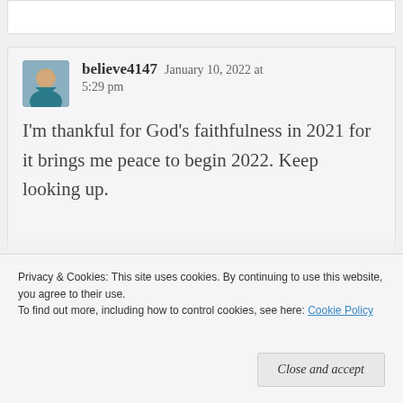believe4147   January 10, 2022 at 5:29 pm
I'm thankful for God's faithfulness in 2021 for it brings me peace to begin 2022. Keep looking up.
Privacy & Cookies: This site uses cookies. By continuing to use this website, you agree to their use.
To find out more, including how to control cookies, see here: Cookie Policy
Close and accept